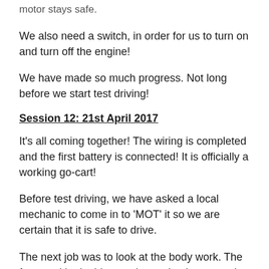motor stays safe.
We also need a switch, in order for us to turn on and turn off the engine!
We have made so much progress. Not long before we start test driving!
Session 12: 21st April 2017
It's all coming together! The wiring is completed and the first battery is connected! It is officially a working go-cart!
Before test driving, we have asked a local mechanic to come in to 'MOT' it so we are certain that it is safe to drive.
The next job was to look at the body work. The front and both side panels need to be created so we used our measuring skills to create templates,